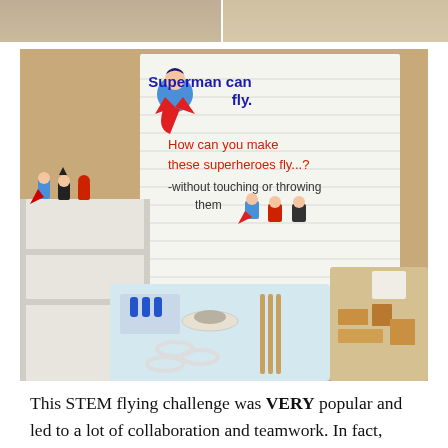[Figure (photo): Top strip showing two partial photos side by side — left appears to be a light wood/beige surface, right also a light wood/tan surface.]
[Figure (photo): Photo of a classroom STEM activity setup: a handwritten poster on a tan wall reads 'Superman can fly. How can you make these superheroes fly...? -without touching or throwing them' with superhero LEGO figures on a white shelf and a bin of craft materials (tape, rings, sticks) below.]
This STEM flying challenge was VERY popular and led to a lot of collaboration and teamwork. In fact, many children challenged themselves to come up with multiple ways of